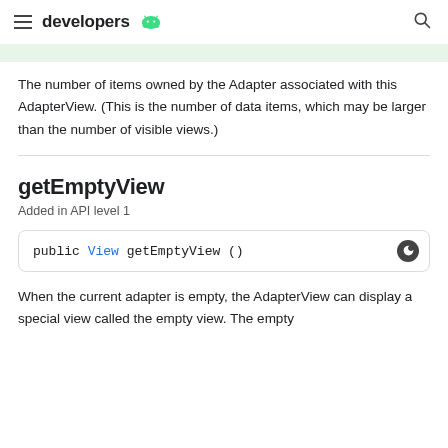developers
The number of items owned by the Adapter associated with this AdapterView. (This is the number of data items, which may be larger than the number of visible views.)
getEmptyView
Added in API level 1
public View getEmptyView ()
When the current adapter is empty, the AdapterView can display a special view called the empty view. The empty